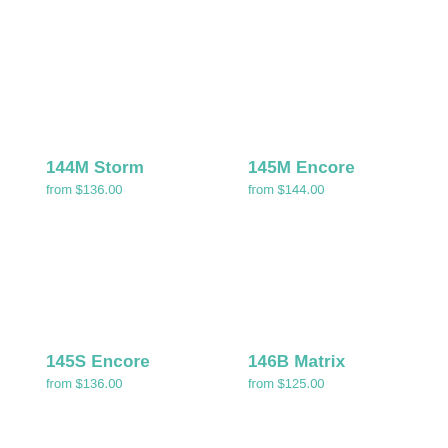144M Storm
from $136.00
145M Encore
from $144.00
145S Encore
from $136.00
146B Matrix
from $125.00